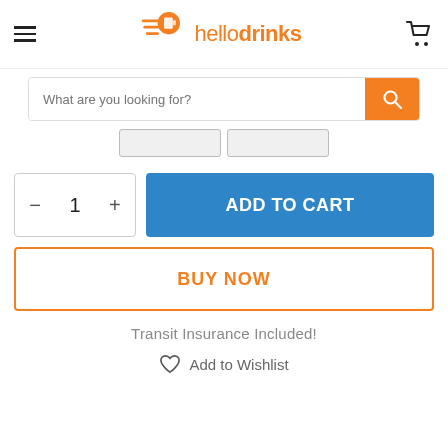[Figure (logo): hellodrinks logo with orange running figure and word mark]
What are you looking for?
[Figure (other): Two partially visible tab/filter buttons]
[Figure (other): Quantity selector with minus, 1, plus; and blue ADD TO CART button]
[Figure (other): BUY NOW button with orange border]
Transit Insurance Included!
Add to Wishlist